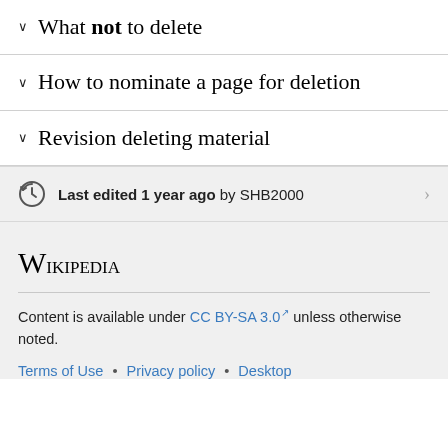What not to delete
How to nominate a page for deletion
Revision deleting material
Last edited 1 year ago by SHB2000
Wikipedia
Content is available under CC BY-SA 3.0 unless otherwise noted.
Terms of Use • Privacy policy • Desktop